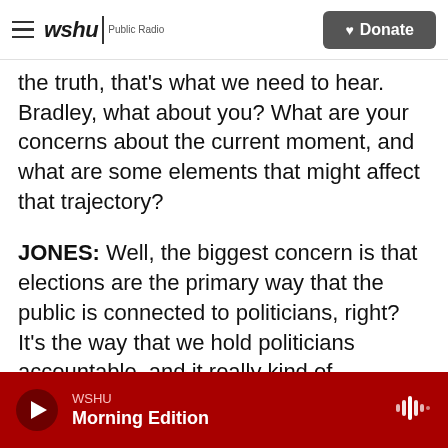wshu Public Radio | Donate
the truth, that's what we need to hear. Bradley, what about you? What are your concerns about the current moment, and what are some elements that might affect that trajectory?
JONES: Well, the biggest concern is that elections are the primary way that the public is connected to politicians, right? It's the way that we hold politicians accountable, and it really kind of underpins the whole system. And so if faith and trust in elections is undermined, is - erodes, it's like the foundation of the building crumbling, right?
You know, we fielded a survey in the middle of last
WSHU Morning Edition